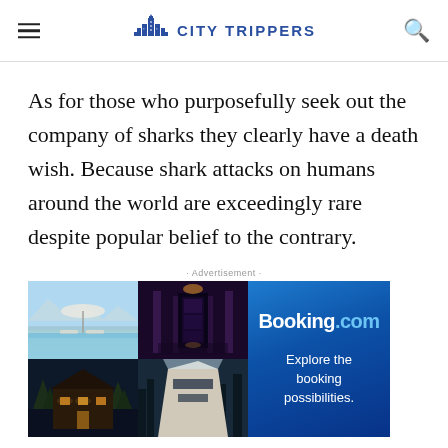CITY TRIPPERS
As for those who purposefully seek out the company of sharks they clearly have a death wish. Because shark attacks on humans around the world are exceedingly rare despite popular belief to the contrary.
· Advertisement ·
[Figure (photo): Booking.com advertisement banner with four hotel/resort photos and the Booking.com logo with tagline 'Explore the booking possibilities.']